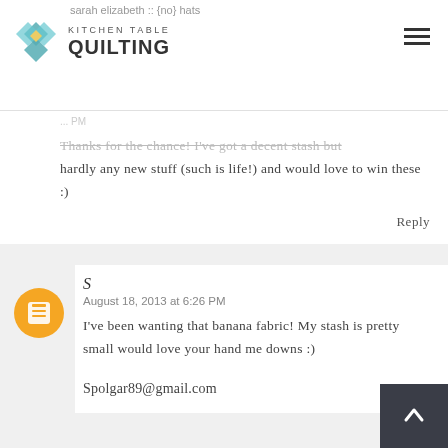Kitchen Table Quilting
sarah elizabeth :: {no} hats
Thanks for the chance! I've got a decent stash but hardly any new stuff (such is life!) and would love to win these :)
Reply
S
August 18, 2013 at 6:26 PM
I've been wanting that banana fabric! My stash is pretty small would love your hand me downs :)
Spolgar89@gmail.com